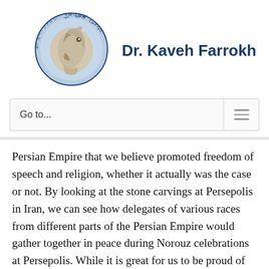[Figure (logo): Circular logo with a Persepolis horse-head sculpture in the center, surrounded by text in multiple languages/scripts reading 'Kaveh Farrokh' around the border in a blue oval frame]
Dr. Kaveh Farrokh
Go to...
Persian Empire that we believe promoted freedom of speech and religion, whether it actually was the case or not. By looking at the stone carvings at Persepolis in Iran, we can see how delegates of various races from different parts of the Persian Empire would gather together in peace during Norouz celebrations at Persepolis. While it is great for us to be proud of our past and what we believe...